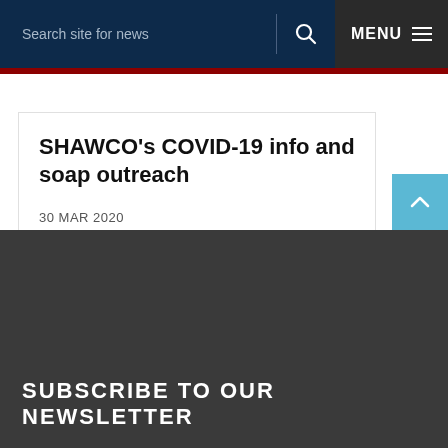Search site for news  MENU
SHAWCO’s COVID-19 info and soap outreach
30 MAR 2020
SUBSCRIBE TO OUR NEWSLETTER